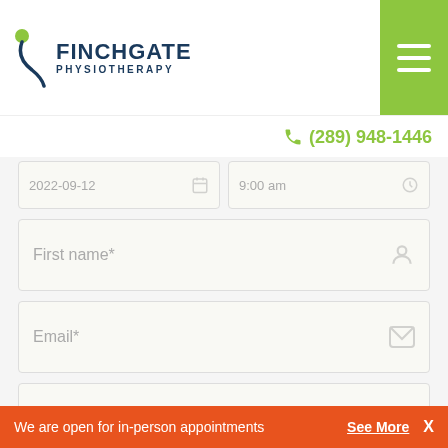[Figure (logo): Finchgate Physiotherapy logo with teal/navy text and green accent icon]
[Figure (other): Green hamburger menu button in top-right corner]
(289) 948-1446
[Figure (screenshot): Partially visible date and time fields at top of form]
First name*
Email*
Phone
Enter code *
[Figure (other): CAPTCHA image showing distorted text 'hFPr' with cracked background]
We are open for in-person appointments
See More